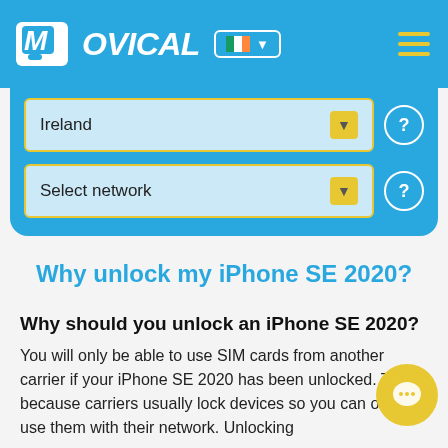MOVICAL
[Figure (screenshot): Dropdown selector showing 'Ireland' with yellow arrow button and white help circle icon]
[Figure (screenshot): Dropdown selector showing 'Select network' with yellow arrow button and white help circle icon]
Why unlock my iPhone SE 2020?
Why should you unlock an iPhone SE 2020?
You will only be able to use SIM cards from another carrier if your iPhone SE 2020 has been unlocked. This is because carriers usually lock devices so you can only use them with their network. Unlocking